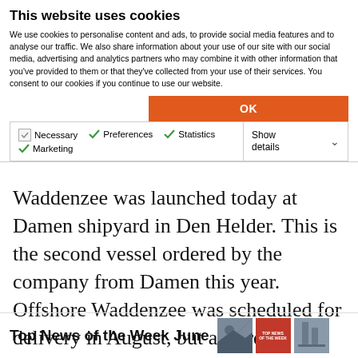This website uses cookies
We use cookies to personalise content and ads, to provide social media features and to analyse our traffic. We also share information about your use of our site with our social media, advertising and analytics partners who may combine it with other information that you've provided to them or that they've collected from your use of their services. You consent to our cookies if you continue to use our website.
OK
Necessary  Preferences  Statistics  Marketing  Show details
Waddenzee was launched today at Damen shipyard in Den Helder. This is the second vessel ordered by the company from Damen this year. Offshore Waddenzee was scheduled for delivery in August, but according to Workships' twitter account, the vessel has already hit the water. The vessel is going to [...]
Top News of the Week June